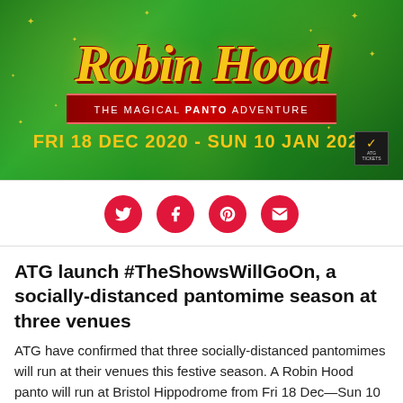[Figure (illustration): Robin Hood: The Magical Panto Adventure promotional banner on dark green background with gold sparkles. Large stylized gold text 'Robin Hood' in italic serif. Red ribbon banner underneath reading 'THE MAGICAL PANTO ADVENTURE'. Yellow text at bottom: 'FRI 18 DEC 2020 - SUN 10 JAN 2021'. ATG badge in bottom right corner.]
[Figure (infographic): Four social media share buttons in a row: Twitter (bird icon), Facebook (f icon), Pinterest (P icon), Email (envelope icon), all circular red buttons on white background.]
ATG launch #TheShowsWillGoOn, a socially-distanced pantomime season at three venues
ATG have confirmed that three socially-distanced pantomimes will run at their venues this festive season. A Robin Hood panto will run at Bristol Hippodrome from Fri 18 Dec—Sun 10 Jan 2021. Tickets for the